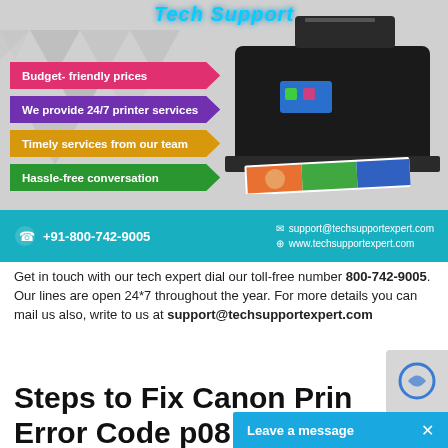[Figure (infographic): Tech Support banner with printer image, colored arrow bullet points (Budget-friendly prices, We provide 24/7 printer services, Timely services from our team, Hassle-free conversation), and a teal contact bar with phone +91-800-742-9005, email support@techsupportexpert.com, web www.techsupportexpert.com]
Get in touch with our tech expert dial our toll-free number 800-742-9005. Our lines are open 24*7 throughout the year. For more details you can mail us also, write to us at support@techsupportexpert.com
Steps to Fix Canon Printer Error Code p08